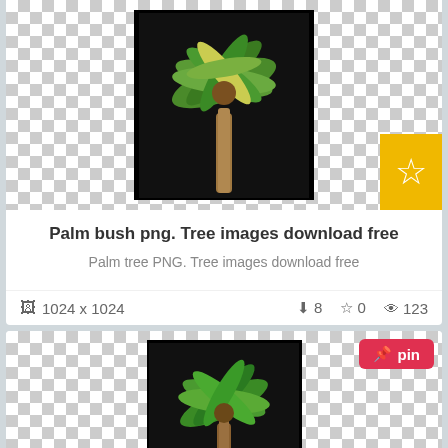[Figure (photo): Palm tree image on black background with checkerboard transparency pattern surround]
Palm bush png. Tree images download free
Palm tree PNG. Tree images download free
1024 x 1024   ⬇ 8   ☆ 0   👁 123
[Figure (photo): Coconut palm tree image on black background with checkerboard transparency pattern surround, with red pin button]
Coconut tree png images. Palm free toppng transparent
Free png palm tree png PNG images transparent. Palm free